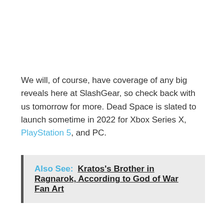We will, of course, have coverage of any big reveals here at SlashGear, so check back with us tomorrow for more. Dead Space is slated to launch sometime in 2022 for Xbox Series X, PlayStation 5, and PC.
Also See: Kratos's Brother in Ragnarok, According to God of War Fan Art